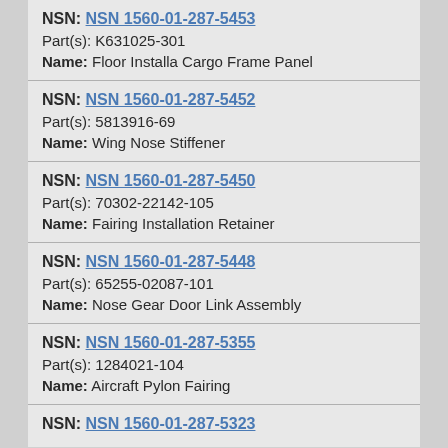NSN: NSN 1560-01-287-5453
Part(s): K631025-301
Name: Floor Installa Cargo Frame Panel
NSN: NSN 1560-01-287-5452
Part(s): 5813916-69
Name: Wing Nose Stiffener
NSN: NSN 1560-01-287-5450
Part(s): 70302-22142-105
Name: Fairing Installation Retainer
NSN: NSN 1560-01-287-5448
Part(s): 65255-02087-101
Name: Nose Gear Door Link Assembly
NSN: NSN 1560-01-287-5355
Part(s): 1284021-104
Name: Aircraft Pylon Fairing
NSN: NSN 1560-01-287-5323